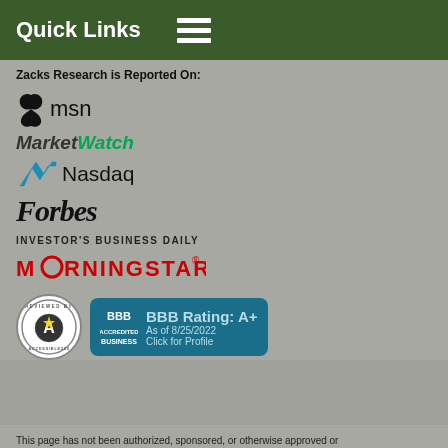Quick Links
Zacks Research is Reported On:
[Figure (logo): MSN logo with butterfly icon and 'msn' text]
[Figure (logo): MarketWatch logo in italic bold, 'Market' in dark and 'Watch' in green]
[Figure (logo): Nasdaq logo with blue N icon and 'Nasdaq' text]
[Figure (logo): Forbes logo in bold serif italic]
[Figure (logo): Investor's Business Daily logo in small caps]
[Figure (logo): Morningstar logo in red uppercase letters with circular O]
[Figure (logo): Accessible360 reviewed badge - circular badge with A star]
[Figure (logo): BBB Accredited Business badge with rating A+ as of 8/25/2022]
This page has not been authorized, sponsored, or otherwise approved or